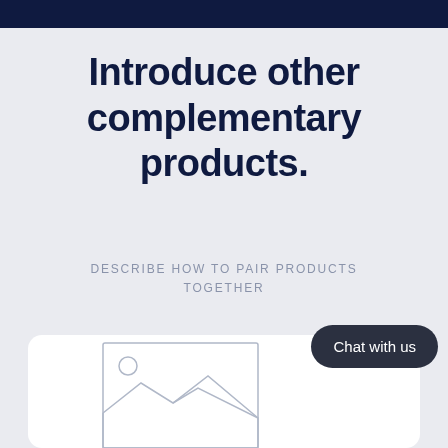Introduce other complementary products.
DESCRIBE HOW TO PAIR PRODUCTS TOGETHER
[Figure (illustration): White card with a placeholder image icon (landscape/mountain scene outline) at the bottom, and a dark rounded 'Chat with us' button overlaid on the right side]